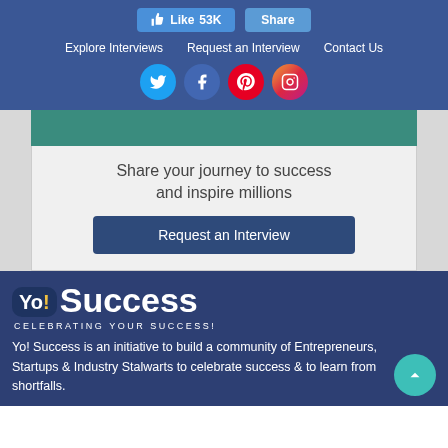[Figure (screenshot): Top navigation bar with Facebook Like (53K) and Share buttons, nav links (Explore Interviews, Request an Interview, Contact Us), and social media icons (Twitter, Facebook, Pinterest, Instagram) on a dark blue background]
[Figure (screenshot): Teal/green image bar (partial person photo) above a light gray promo box]
Share your journey to success and inspire millions
Request an Interview
[Figure (logo): Yo! Success logo — Yo! in badge + 'Success' in large white text, tagline: CELEBRATING YOUR SUCCESS!]
Yo! Success is an initiative to build a community of Entrepreneurs, Startups & Industry Stalwarts to celebrate success & to learn from shortfalls.